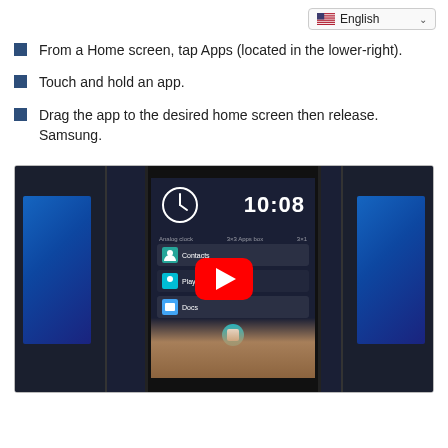English
From a Home screen, tap Apps (located in the lower-right).
Touch and hold an app.
Drag the app to the desired home screen then release. Samsung.
[Figure (screenshot): A YouTube video thumbnail showing hands holding a Samsung Android smartphone with the app drawer open, displaying the time 10:08, with multiple computer monitors visible in the background. A red YouTube play button is overlaid in the center.]